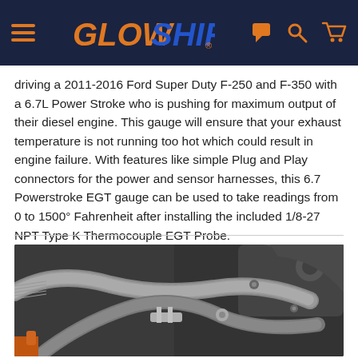GlowShift navigation bar with logo, chat, search, and cart icons
driving a 2011-2016 Ford Super Duty F-250 and F-350 with a 6.7L Power Stroke who is pushing for maximum output of their diesel engine. This gauge will ensure that your exhaust temperature is not running too hot which could result in engine failure. With features like simple Plug and Play connectors for the power and sensor harnesses, this 6.7 Powerstroke EGT gauge can be used to take readings from 0 to 1500° Fahrenheit after installing the included 1/8-27 NPT Type K Thermocouple EGT Probe.
[Figure (photo): Close-up photo of a diesel engine bay showing braided hoses, metal brackets, and engine components in dark gray and black tones]